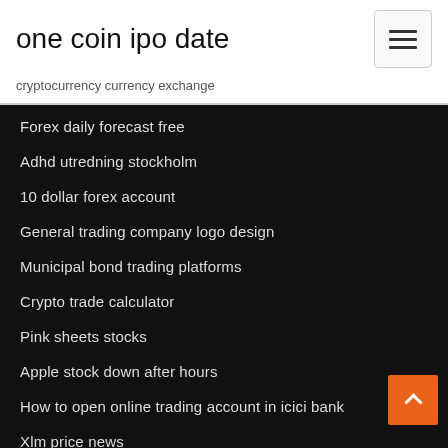one coin ipo date
cryptocurrency currency exchange
Forex daily forecast free
Adhd utredning stockholm
10 dollar forex account
General trading company logo design
Municipal bond trading platforms
Crypto trade calculator
Pink sheets stocks
Apple stock down after hours
How to open online trading account in icici bank
Xlm price news